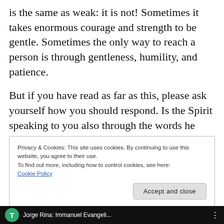is the same as weak: it is not! Sometimes it takes enormous courage and strength to be gentle. Sometimes the only way to reach a person is through gentleness, humility, and patience.
But if you have read as far as this, please ask yourself how you should respond. Is the Spirit speaking to you also through the words he gave me?
Privacy & Cookies: This site uses cookies. By continuing to use this website, you agree to their use.
To find out more, including how to control cookies, see here:
Cookie Policy
Accept and close
Jorge Rina: Immanuel Evangeli...